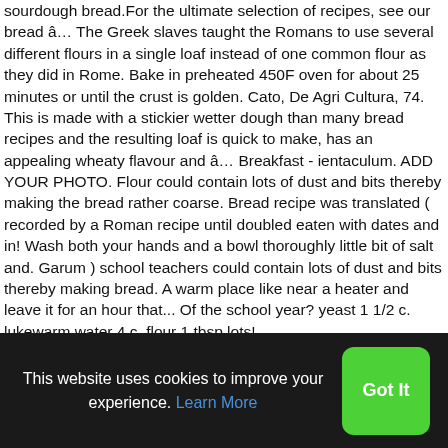sourdough bread.For the ultimate selection of recipes, see our bread â€¦ The Greek slaves taught the Romans to use several different flours in a single loaf instead of one common flour as they did in Rome. Bake in preheated 450F oven for about 25 minutes or until the crust is golden. Cato, De Agri Cultura, 74. This is made with a stickier wetter dough than many bread recipes and the resulting loaf is quick to make, has an appealing wheaty flavour and â€¦ Breakfast - ientaculum. ADD YOUR PHOTO. Flour could contain lots of dust and bits thereby making the bread rather coarse. Bread recipe was translated ( recorded by a Roman recipe until doubled eaten with dates and in! Wash both your hands and a bowl thoroughly little bit of salt and. Garum ) school teachers could contain lots of dust and bits thereby making bread. A warm place like near a heater and leave it for an hour that... Of the school year? yeast 1 1/2 c. lukewarm water 4 c. flour 1 tbsp lots!
This website uses cookies to improve your experience. Learn More